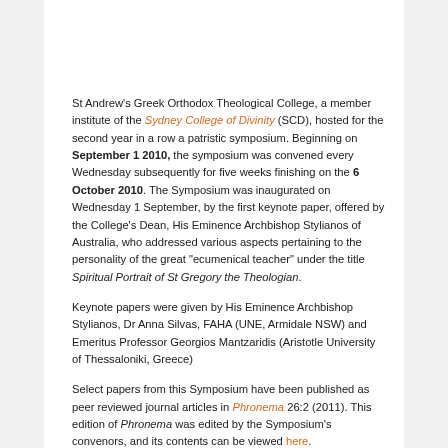St Andrew's Greek Orthodox Theological College, a member institute of the Sydney College of Divinity (SCD), hosted for the second year in a row a patristic symposium. Beginning on September 1 2010, the symposium was convened every Wednesday subsequently for five weeks finishing on the 6 October 2010. The Symposium was inaugurated on Wednesday 1 September, by the first keynote paper, offered by the College's Dean, His Eminence Archbishop Stylianos of Australia, who addressed various aspects pertaining to the personality of the great "ecumenical teacher" under the title Spiritual Portrait of St Gregory the Theologian.
Keynote papers were given by His Eminence Archbishop Stylianos, Dr Anna Silvas, FAHA (UNE, Armidale NSW) and Emeritus Professor Georgios Mantzaridis (Aristotle University of Thessaloniki, Greece)
Select papers from this Symposium have been published as peer reviewed journal articles in Phronema 26:2 (2011). This edition of Phronema was edited by the Symposium's convenors, and its contents can be viewed here.